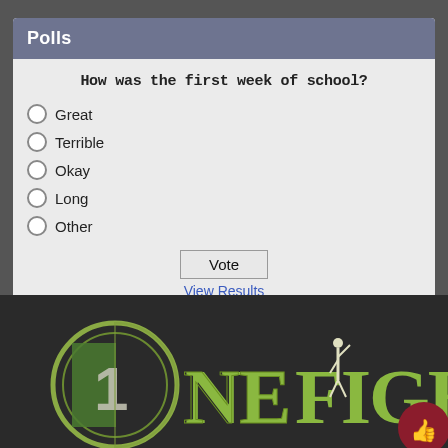Polls
How was the first week of school?
Great
Terrible
Okay
Long
Other
Vote
View Results
Polls Archive
[Figure (logo): One Fight logo with circular '1' emblem and stylized green text 'ONE FIGHT' on dark background]